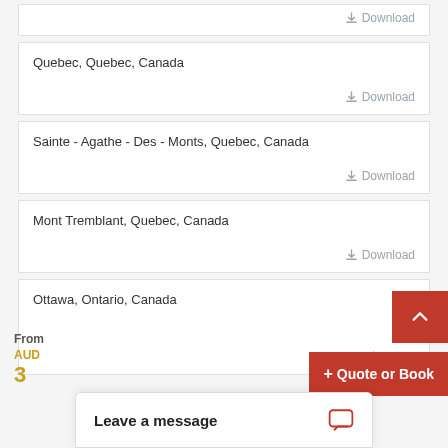Download
Quebec, Quebec, Canada
Download
Sainte - Agathe - Des - Monts, Quebec, Canada
Download
Mont Tremblant, Quebec, Canada
Download
Ottawa, Ontario, Canada
Download
From
AUD
3
+ Quote or Book
Leave a message